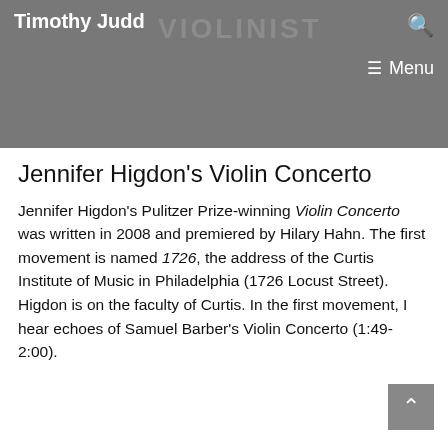Timothy Judd | VIOLINIST
day that a contemporary piece is met with so much excitement. If Holly Mulcahy's success can be taken as a model, personal interaction and passion for the community are essential ingredients for twenty-first century audience development.
Jennifer Higdon's Violin Concerto
Jennifer Higdon's Pulitzer Prize-winning Violin Concerto was written in 2008 and premiered by Hilary Hahn. The first movement is named 1726, the address of the Curtis Institute of Music in Philadelphia (1726 Locust Street). Higdon is on the faculty of Curtis. In the first movement, I hear echoes of Samuel Barber's Violin Concerto (1:49-2:00).